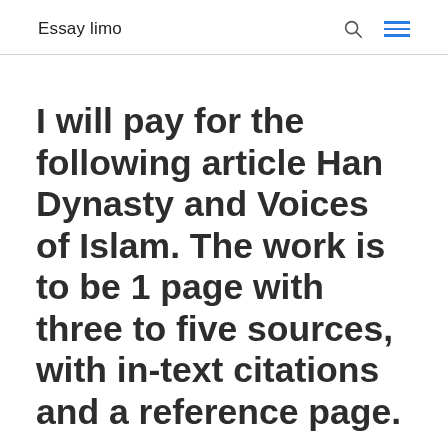Essay limo
I will pay for the following article Han Dynasty and Voices of Islam. The work is to be 1 page with three to five sources, with in-text citations and a reference page.
by jajasete | Apr 26, 2021 | Uncategorized